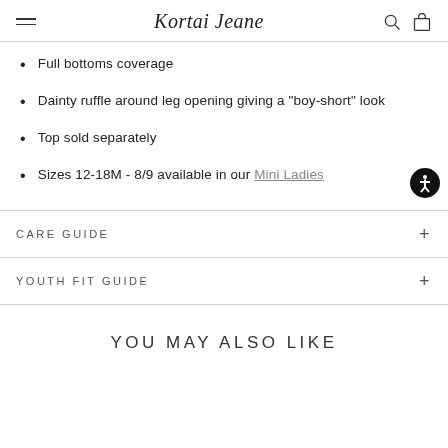Kortai Jeane
Full bottoms coverage
Dainty ruffle around leg opening giving a "boy-short" look
Top sold separately
Sizes 12-18M - 8/9 available in our Mini Ladies
CARE GUIDE
YOUTH FIT GUIDE
YOU MAY ALSO LIKE